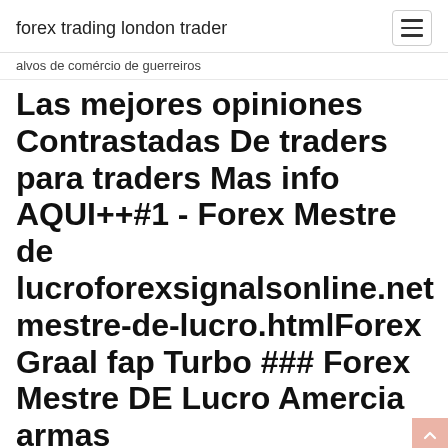forex trading london trader
alvos de comércio de guerreiros
Las mejores opiniones Contrastadas De traders para traders Mas info AQUI++#1 - Forex Mestre de lucroforexsignalsonline.net mestre-de-lucro.htmlForex Graal fap Turbo ### Forex Mestre DE Lucro Amercia armas